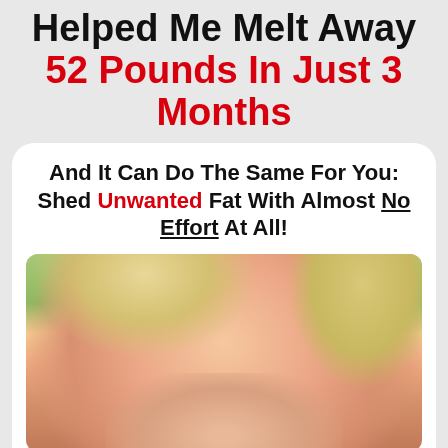Helped Me Melt Away 52 Pounds In Just 3 Months
And It Can Do The Same For You: Shed Unwanted Fat With Almost No Effort At All!
[Figure (photo): Close-up photo of a young blonde child eating a cookie with eyes closed]